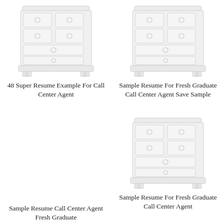[Figure (illustration): White dresser/chest of drawers illustration, placeholder image]
48 Super Resume Example For Call Center Agent
[Figure (illustration): White dresser/chest of drawers illustration, placeholder image]
Sample Resume For Fresh Graduate Call Center Agent Save Sample
[Figure (illustration): White dresser/chest of drawers illustration, placeholder image (partially visible)]
Sample Resume Call Center Agent Fresh Graduate
[Figure (illustration): White dresser/chest of drawers illustration, placeholder image]
Sample Resume For Fresh Graduate Call Center Agent